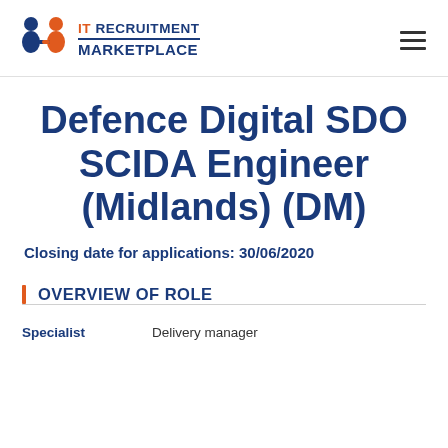[Figure (logo): IT Recruitment Marketplace logo with two person icons (blue and orange) shaking hands, and text 'IT RECRUITMENT MARKETPLACE' in blue and orange]
Defence Digital SDO SCIDA Engineer (Midlands) (DM)
Closing date for applications: 30/06/2020
OVERVIEW OF ROLE
|  |  |
| --- | --- |
| Specialist | Delivery manager |